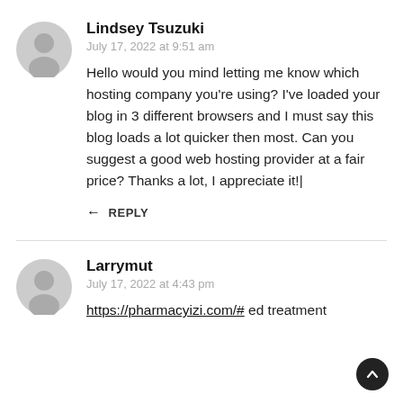Lindsey Tsuzuki
July 17, 2022 at 9:51 am
Hello would you mind letting me know which hosting company you're using? I've loaded your blog in 3 different browsers and I must say this blog loads a lot quicker then most. Can you suggest a good web hosting provider at a fair price? Thanks a lot, I appreciate it!|
REPLY
Larrymut
July 17, 2022 at 4:43 pm
https://pharmacyizi.com/# ed treatment